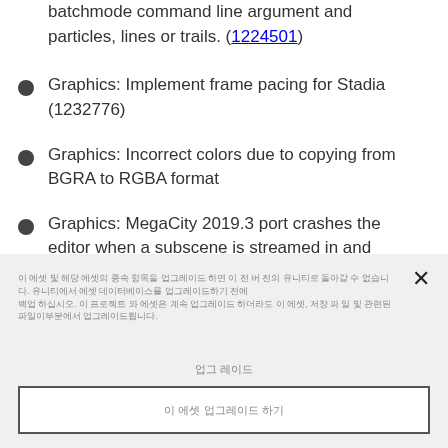batchmode command line argument and particles, lines or trails. (1224501)
Graphics: Implement frame pacing for Stadia (1232776)
Graphics: Incorrect colors due to copying from BGRA to RGBA format
Graphics: MegaCity 2019.3 port crashes the editor when a subscene is streamed in and
[Korean text - dialog body text]
[Korean label text]
[Korean button text]